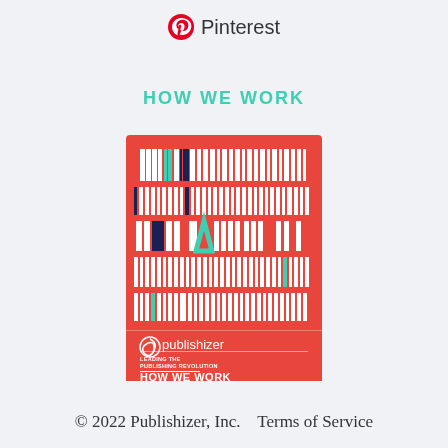Pinterest
HOW WE WORK
[Figure (illustration): Book cover of Publishizer 'How We Work' document. Red background with stylized white book spines arranged in rows, with accents of navy/dark blue, teal/mint green. Lower section shows Publishizer logo (spiral icon) with the word 'publishizer', subtitle text 'LEADING THE PUBLISHING REVOLUTION' with a horizontal rule, and bold text 'HOW WE WORK'.]
© 2022 Publishizer, Inc.    Terms of Service